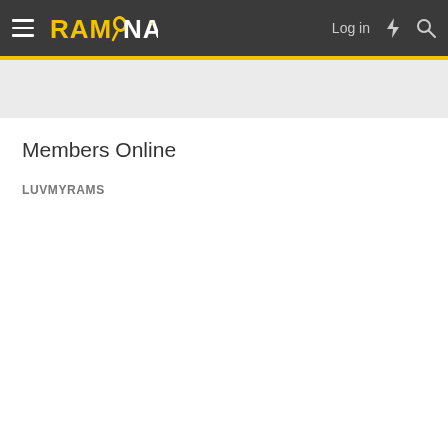RAM NATION | Log in
Members Online
LUVMYRAMS